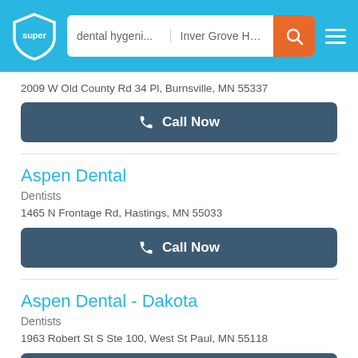dental hygeni... | Inver Grove He...
2009 W Old County Rd 34 Pl, Burnsville, MN 55337
Call Now
Aspen Dental
Dentists
1465 N Frontage Rd, Hastings, MN 55033
Call Now
Aspen Dental - Dakota
Dentists
1963 Robert St S Ste 100, West St Paul, MN 55118
Call Now